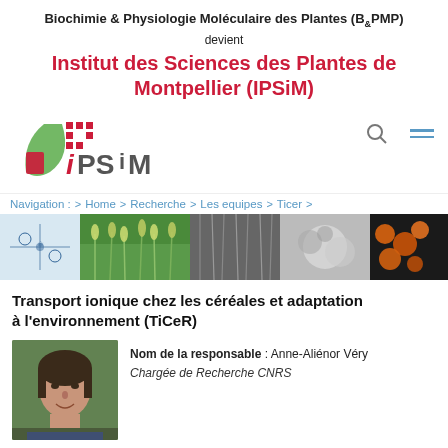Biochimie & Physiologie Moléculaire des Plantes (B&PMP) devient Institut des Sciences des Plantes de Montpellier (IPSiM)
[Figure (logo): IPSiM logo with leaf graphic and stylized text]
[Figure (infographic): Navigation bar with search and hamburger menu icons]
Navigation : > Home > Recherche > Les equipes > Ticer >
[Figure (photo): Banner strip with scientific images: molecular diagrams, wheat fields, plant spikes, microscopy images of cells, orange spherical structures, and scientific data graphs]
Transport ionique chez les céréales et adaptation à l'environnement (TiCeR)
[Figure (photo): Portrait photo of Anne-Aliénor Véry, a woman with dark hair, outdoors]
Nom de la responsable : Anne-Aliénor Véry
Chargée de Recherche CNRS